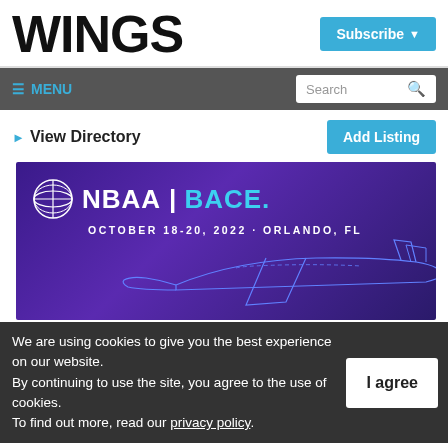WINGS
Subscribe ▼
☰ MENU
Search 🔍
▶ View Directory
Add Listing
[Figure (photo): NBAA BACE advertisement banner. Purple/indigo gradient background with NBAA|BACE. logo, text OCTOBER 18-20, 2022 · ORLANDO, FL, and a wireframe outline drawing of a business jet aircraft.]
We are using cookies to give you the best experience on our website.
By continuing to use the site, you agree to the use of cookies.
To find out more, read our privacy policy.
I agree